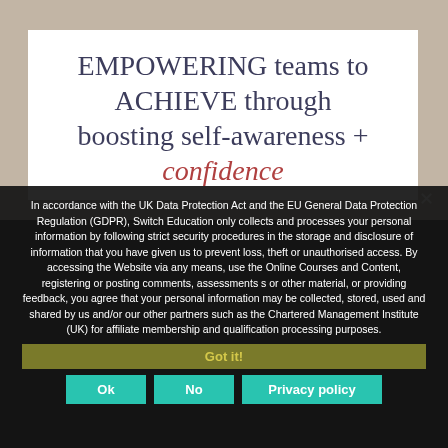EMPOWERING teams to ACHIEVE through boosting self-awareness + confidence
In accordance with the UK Data Protection Act and the EU General Data Protection Regulation (GDPR), Switch Education only collects and processes your personal information by following strict security procedures in the storage and disclosure of information that you have given us to prevent loss, theft or unauthorised access. By accessing the Website via any means, use the Online Courses and Content, registering or posting comments, assessments s or other material, or providing feedback, you agree that your personal information may be collected, stored, used and shared by us and/or our other partners such as the Chartered Management Institute (UK) for affiliate membership and qualification processing purposes.
Got it!
Ok   No   Privacy policy